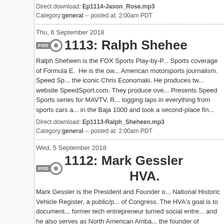Direct download: Ep1114-Jason_Rose.mp3
Category: general -- posted at: 2:00am PDT
Thu, 6 September 2018
1113: Ralph Shehee...
Ralph Sheheen is the FOX Sports Play-by-Play commentator for FOX Sports coverage of Formula E. He is the owner of Speed Sport, the iconic American motorsports journalism. Speed Sport was founded by the iconic Chris Economaki. He produces two shows a week for the website SpeedSport.com. They produce over 200 hours of the Speed Presents Speed Sports series for MAVTV. Ralph is also a racer, logging laps in everything from sports cars and open-wheel racers to in the Baja 1000 and took a second-place fin...
Direct download: Ep1113-Ralph_Sheheen.mp3
Category: general -- posted at: 2:00am PDT
Wed, 5 September 2018
1112: Mark Gessler HVA.
Mark Gessler is the President and Founder of the HVA and the National Historic Vehicle Register, a public/private initiative with Library of Congress. The HVA's goal is to document historic vehicles. He is a former tech entrepreneur turned social entrepreneur philanthropist, and he also serves as North American Ambassador to Zagato. He is the founder of Scuderia SPORTS Zagato that has competed at the Mille Miglia since 2010. Mark is a frequent attendee at major automobile events including the Amelia Islan...
Direct download: Ep1112-Mark_Gessler.mp3
Category: general -- posted at: 2:00am PDT